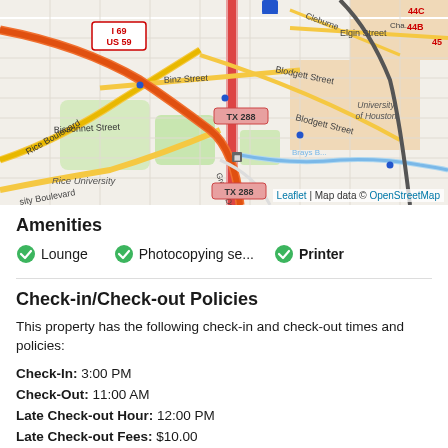[Figure (map): Street map of Houston area near Rice University, University of Houston, showing TX 288, I 69 / US 59 highways, Bissonnet Street, Rice Boulevard, Blodgett Street, Elgin Street, Cleburne Street, Binz Street, Gregor Drive, Brays Bayou. Map data from OpenStreetMap via Leaflet.]
Amenities
Lounge
Photocopying se...
Printer
Check-in/Check-out Policies
This property has the following check-in and check-out times and policies:
Check-In: 3:00 PM
Check-Out: 11:00 AM
Late Check-out Hour: 12:00 PM
Late Check-out Fees: $10.00
Late check-out (after 11:00 AM and before 12:00 PM) may result in a fee.
Payment and Cancellation Policy